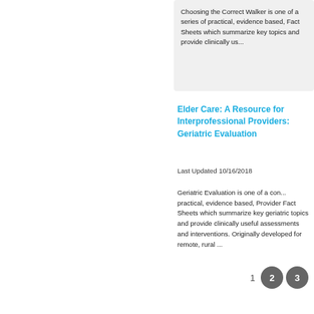Choosing the Correct Walker is one of a series of practical, evidence based, Fact Sheets which summarize key topics and provide clinically us...
Elder Care: A Resource for Interprofessional Providers: Geriatric Evaluation
Last Updated 10/16/2018
Geriatric Evaluation is one of a comprehensive, practical, evidence based, Provider Fact Sheets which summarize key geriatric topics and provide clinically useful assessments and interventions. Originally developed for remote, rural ...
1  2  3